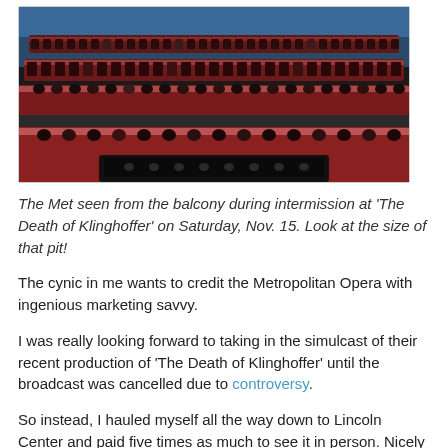[Figure (photo): Overhead view of the Metropolitan Opera house auditorium from the balcony, showing red seats and audience members during intermission.]
The Met seen from the balcony during intermission at 'The Death of Klinghoffer' on Saturday, Nov. 15. Look at the size of that pit!
The cynic in me wants to credit the Metropolitan Opera with ingenious marketing savvy.
I was really looking forward to taking in the simulcast of their recent production of 'The Death of Klinghoffer' until the broadcast was cancelled due to controversy.
So instead, I hauled myself all the way down to Lincoln Center and paid five times as much to see it in person. Nicely played, Peter Gelb!
The performance was a matinee on Saturday, Nov. 15, the final one in the Met's 'Klinghoffer' run, and also the one that